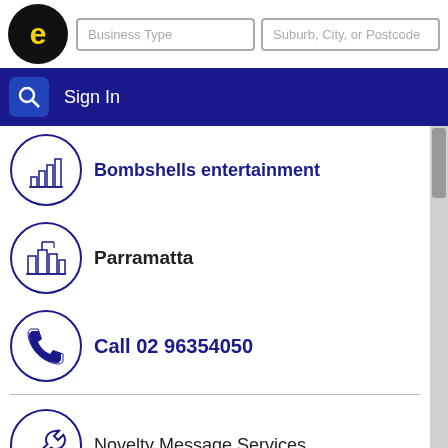Business Type | Suburb, City, or Postcode | Sign In
Bombshells entertainment
Parramatta
Call 02 96354050
Novelty Message Services
Suite 5/ 169 Macquarie St, Parramatta - New South Wales 2150
tracey@bombshells.com.au